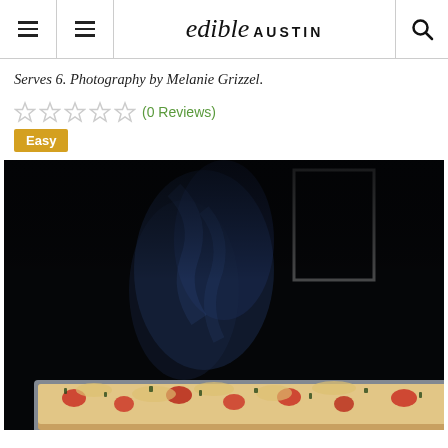edible AUSTIN — navigation header with menu icons and search
Serves 6. Photography by Melanie Grizzel.
(0 Reviews)
Easy
[Figure (photo): Dark moody food photography showing a baking tray of pizza or flatbread with cheese, tomatoes, and herbs, with bluish smoke or steam rising in the dark background, and a rectangular light-colored frame visible in the upper right.]